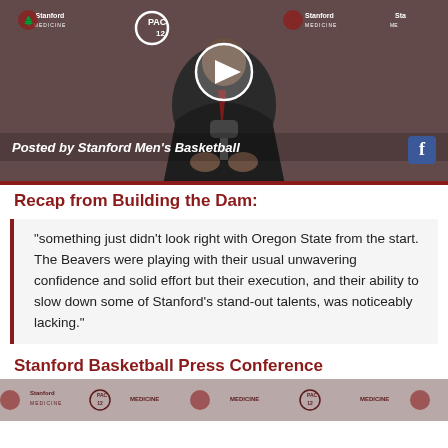[Figure (screenshot): Video thumbnail of a Stanford Men's Basketball press conference. A man in a dark suit sits at a microphone in front of a Stanford Medicine and Pac-12 branded backdrop. A white play button circle is overlaid in the center. Text at bottom reads 'Posted by Stanford Men's Basketball' with a Facebook icon.]
Recap from Building the Dam:
“something just didn’t look right with Oregon State from the start. The Beavers were playing with their usual unwavering confidence and solid effort but their execution, and their ability to slow down some of Stanford’s stand-out talents, was noticeably lacking.”
Stanford Basketball Press Conference
[Figure (screenshot): Partial bottom strip of a Stanford Basketball press conference video thumbnail showing the branded backdrop with Stanford Medicine and Pac-12 logos.]